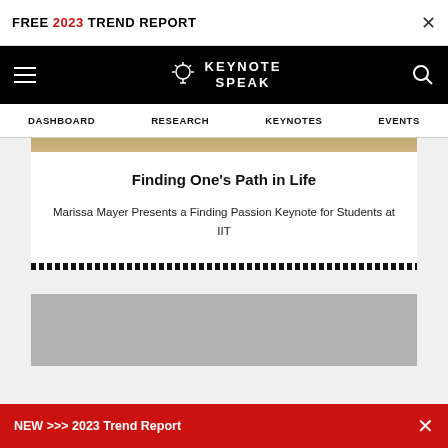FREE 2023 TREND REPORT
[Figure (logo): Keynote Speak website logo with lightbulb icon on black navigation bar, with hamburger menu and search icon]
DASHBOARD  RESEARCH  KEYNOTES  EVENTS
Finding One's Path in Life
Marissa Mayer Presents a Finding Passion Keynote for Students at IIT
[Figure (photo): Gray placeholder image for a second article card]
NEW >>> 2023 Trend Report